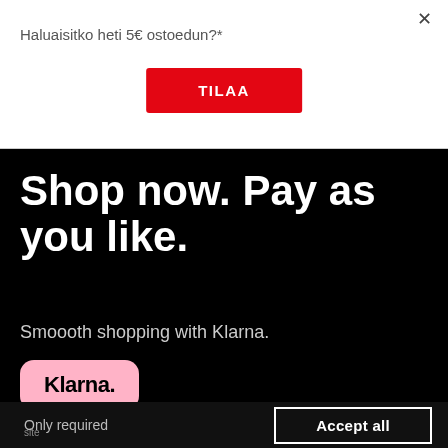Haluaisitko heti 5€ ostoedun?*
TILAA
Shop now. Pay as you like.
Smoooth shopping with Klarna.
[Figure (logo): Klarna logo badge, pink rounded rectangle with bold 'Klarna.' text]
We use cookies to support your experience on our site. Read privacy policy.
Only required
Accept all